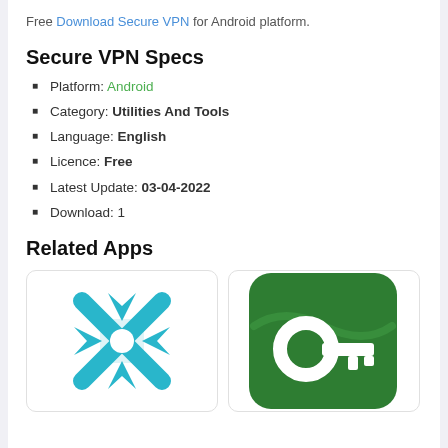Free Download Secure VPN for Android platform.
Secure VPN Specs
Platform: Android
Category: Utilities And Tools
Language: English
Licence: Free
Latest Update: 03-04-2022
Download: 1
Related Apps
[Figure (illustration): App icon with a teal/cyan colored X shape (cross) on white background]
[Figure (illustration): App icon with a white key symbol on a green rounded square background]